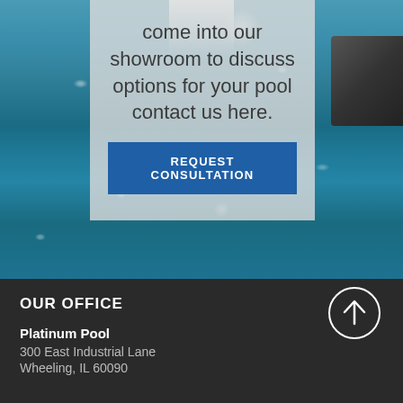[Figure (photo): Swimming pool water with ripples and splashing water. A dark pool ladder/edge is visible in the top right. A white water streak runs vertically near the top center. Overlaid is a semi-transparent gray box containing text and a button.]
come into our showroom to discuss options for your pool contact us here.
REQUEST CONSULTATION
OUR OFFICE
Platinum Pool
300 East Industrial Lane
Wheeling, IL 60090